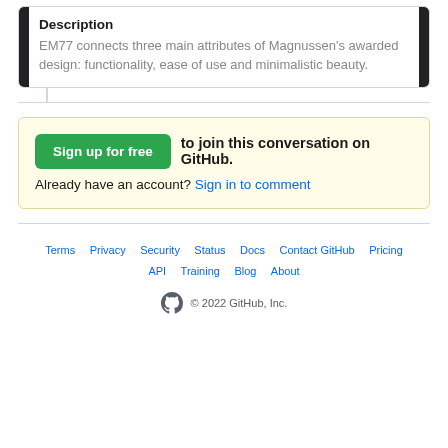Description
EM77 connects three main attributes of Magnussen's awarded design: functionality, ease of use and minimalistic beauty.
Sign up for free to join this conversation on GitHub. Already have an account? Sign in to comment
Terms  Privacy  Security  Status  Docs  Contact GitHub  Pricing  API  Training  Blog  About  © 2022 GitHub, Inc.